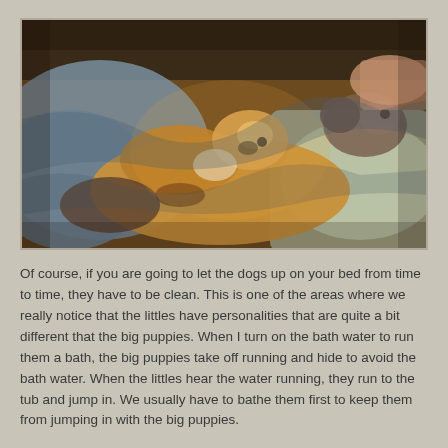[Figure (photo): Dogs and puppies resting on a bed with rumpled blankets and pillows. A large tan/brindle dog lies in the center with smaller puppies nearby, and a person is partially visible in the upper right corner.]
Of course, if you are going to let the dogs up on your bed from time to time, they have to be clean. This is one of the areas where we really notice that the littles have personalities that are quite a bit different that the big puppies. When I turn on the bath water to run them a bath, the big puppies take off running and hide to avoid the bath water. When the littles hear the water running, they run to the tub and jump in. We usually have to bathe them first to keep them from jumping in with the big puppies.